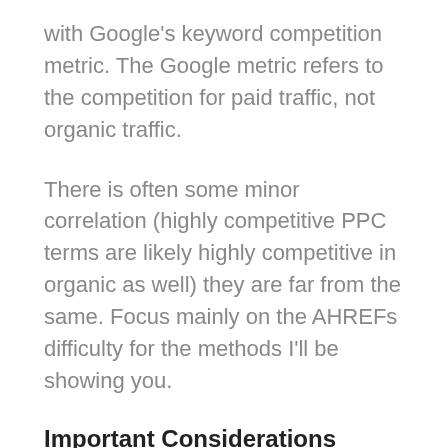with Google's keyword competition metric. The Google metric refers to the competition for paid traffic, not organic traffic.
There is often some minor correlation (highly competitive PPC terms are likely highly competitive in organic as well) they are far from the same. Focus mainly on the AHREFs difficulty for the methods I'll be showing you.
Important Considerations